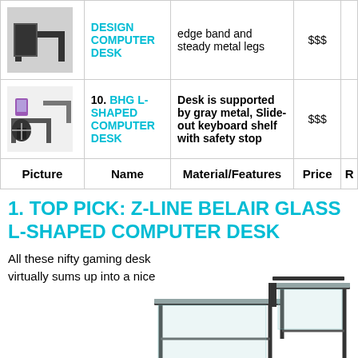| Picture | Name | Material/Features | Price | R |
| --- | --- | --- | --- | --- |
| [desk image] | DESIGN COMPUTER DESK | edge band and steady metal legs | $$$ |  |
| [L-shaped desk image] | 10. BHG L-SHAPED COMPUTER DESK | Desk is supported by gray metal, Slide-out keyboard shelf with safety stop | $$$ |  |
| Picture | Name | Material/Features | Price | R |
1. TOP PICK: Z-LINE BELAIR GLASS L-SHAPED COMPUTER DESK
All these nifty gaming desk virtually sums up into a nice...
[Figure (photo): L-shaped glass computer desk with black metal frame]